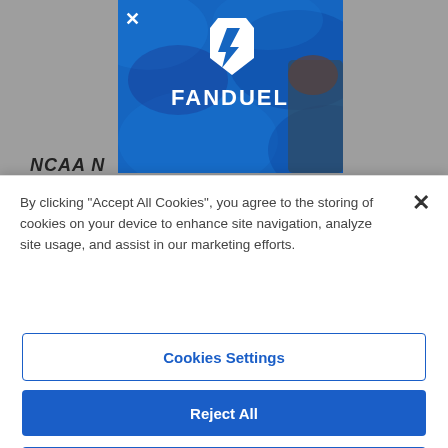[Figure (screenshot): FanDuel advertisement banner with blue background, FanDuel shield logo and wordmark FANDUEL in white, partially visible person holding device on the right side. An X close button appears in the top-left of the ad.]
NCAA N
By clicking “Accept All Cookies”, you agree to the storing of cookies on your device to enhance site navigation, analyze site usage, and assist in our marketing efforts.
Cookies Settings
Reject All
Accept All Cookies